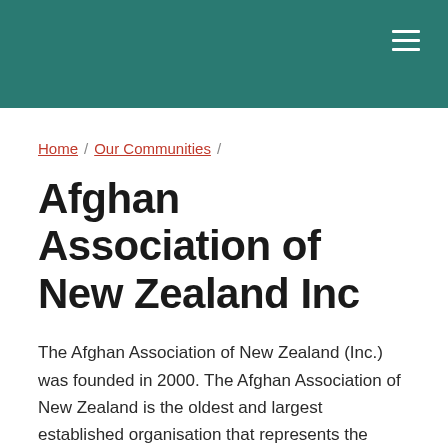Home / Our Communities /
Afghan Association of New Zealand Inc
The Afghan Association of New Zealand (Inc.) was founded in 2000. The Afghan Association of New Zealand is the oldest and largest established organisation that represents the Afghan Diaspora of New Zealand.